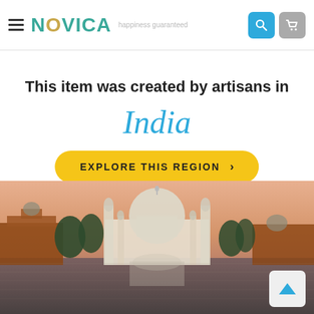NOVICA happiness guaranteed
This item was created by artisans in
India
EXPLORE THIS REGION >
[Figure (photo): Taj Mahal reflected in water at dusk/dawn with warm orange-pink sky, minarets visible, reflection in foreground water]